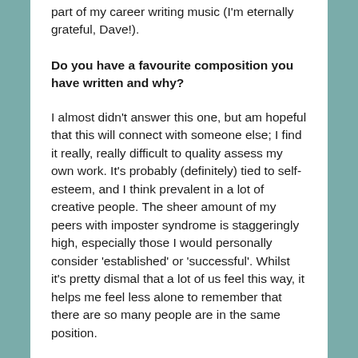part of my career writing music (I'm eternally grateful, Dave!).
Do you have a favourite composition you have written and why?
I almost didn't answer this one, but am hopeful that this will connect with someone else; I find it really, really difficult to quality assess my own work. It's probably (definitely) tied to self-esteem, and I think prevalent in a lot of creative people. The sheer amount of my peers with imposter syndrome is staggeringly high, especially those I would personally consider 'established' or 'successful'. Whilst it's pretty dismal that a lot of us feel this way, it helps me feel less alone to remember that there are so many people are in the same position.
How have you been coping with the